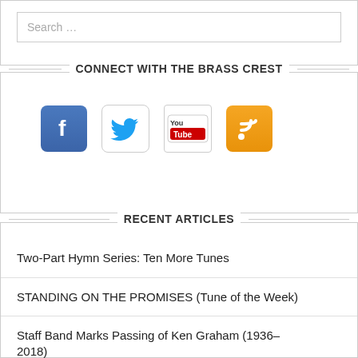Search …
CONNECT WITH THE BRASS CREST
[Figure (illustration): Social media icons: Facebook, Twitter, YouTube, RSS feed]
RECENT ARTICLES
Two-Part Hymn Series: Ten More Tunes
STANDING ON THE PROMISES (Tune of the Week)
Staff Band Marks Passing of Ken Graham (1936–2018)